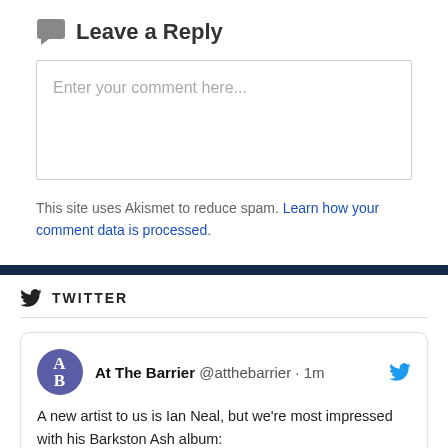Leave a Reply
Enter your comment here...
This site uses Akismet to reduce spam. Learn how your comment data is processed.
TWITTER
At The Barrier @atthebarrier · 1m
A new artist to us is Ian Neal, but we're most impressed with his Barkston Ash album:
atthebarrier.com/2022/08/31/ian